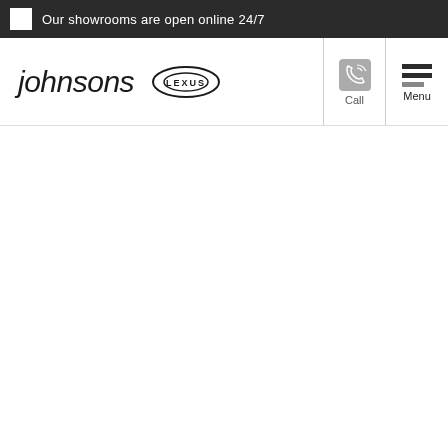Our showrooms are open online 24/7
[Figure (logo): Johnsons car dealership logo with italic 'johnsons' wordmark and Lexus brand logo]
[Figure (other): Call button with phone icon]
[Figure (other): Menu button with hamburger icon]